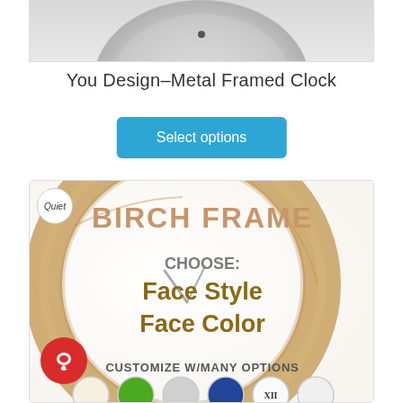[Figure (photo): Partial top view of a metal framed clock showing the circular silver frame against light background with a small dark dot visible]
You Design–Metal Framed Clock
Select options
[Figure (photo): Product image of a Birch Frame clock with text overlay. Shows a circular birch wood ring frame with text: BIRCH FRAME, CHOOSE: Face Style Face Color, CUSTOMIZE W/MANY OPTIONS. Quiet badge in top left corner. Red chat bubble icon bottom left. Small clock sample thumbnails at bottom.]